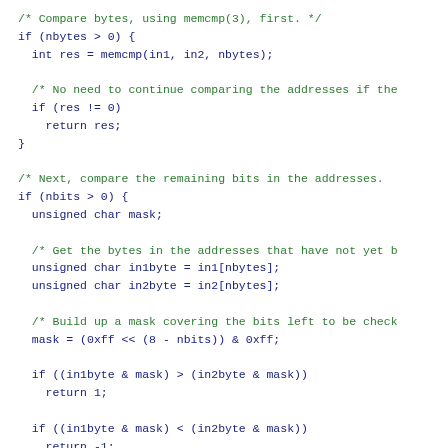[Figure (screenshot): C source code snippet showing bitwise address comparison logic using memcmp, mask operations, and conditional returns. Comments in green, code in dark blue/navy, monospace font on white background.]